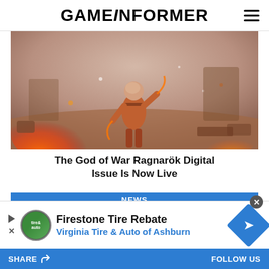GAMEiNFORMER
[Figure (photo): God of War Ragnarök gameplay screenshot showing Kratos in a fiery battle environment with dust and flames]
The God of War Ragnarök Digital Issue Is Now Live
[Figure (photo): NEWS label bar in blue followed by a game screenshot with creature]
[Figure (infographic): Advertisement for Firestone Tire Rebate by Virginia Tire & Auto of Ashburn with logo and directional sign icon]
SHARE   FOLLOW US